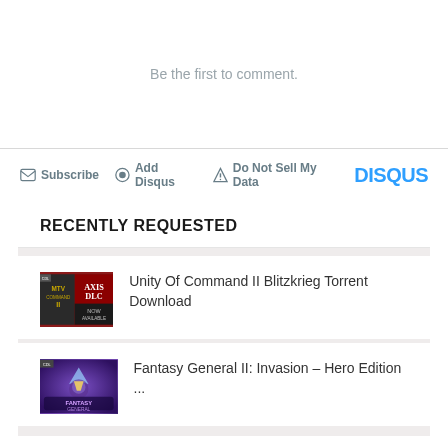Be the first to comment.
Subscribe  Add Disqus  Do Not Sell My Data  DISQUS
RECENTLY REQUESTED
Unity Of Command II Blitzkrieg Torrent Download
Fantasy General II: Invasion – Hero Edition ...